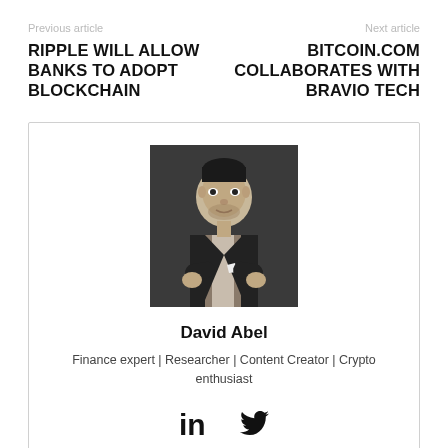Previous article
Next article
RIPPLE WILL ALLOW BANKS TO ADOPT BLOCKCHAIN
BITCOIN.COM COLLABORATES WITH BRAVIO TECH
[Figure (photo): Black and white portrait photo of David Abel, a man in a suit with arms crossed]
David Abel
Finance expert | Researcher | Content Creator | Crypto enthusiast
[Figure (other): LinkedIn and Twitter social media icons]